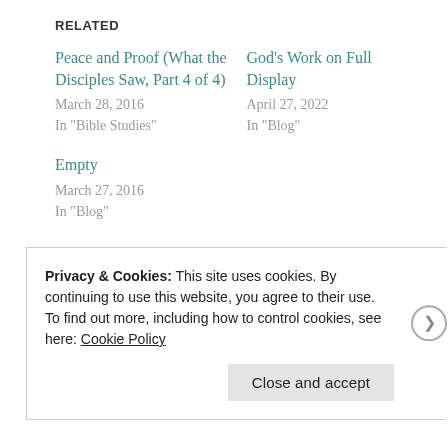RELATED
Peace and Proof (What the Disciples Saw, Part 4 of 4)
March 28, 2016
In "Bible Studies"
God’s Work on Full Display
April 27, 2022
In "Blog"
Empty
March 27, 2016
In "Blog"
Privacy & Cookies: This site uses cookies. By continuing to use this website, you agree to their use.
To find out more, including how to control cookies, see here: Cookie Policy
Close and accept